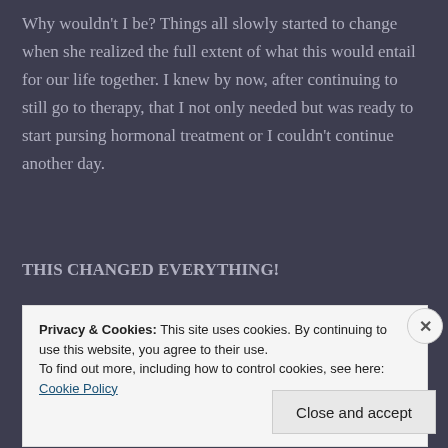Why wouldn't I be? Things all slowly started to change when she realized the full extent of what this would entail for our life together. I knew by now, after continuing to still go to therapy, that I not only needed but was ready to start pursing hormonal treatment or I couldn't continue another day.
THIS CHANGED EVERYTHING!
When, I first came out to her I don't think the full
Privacy & Cookies: This site uses cookies. By continuing to use this website, you agree to their use.
To find out more, including how to control cookies, see here: Cookie Policy